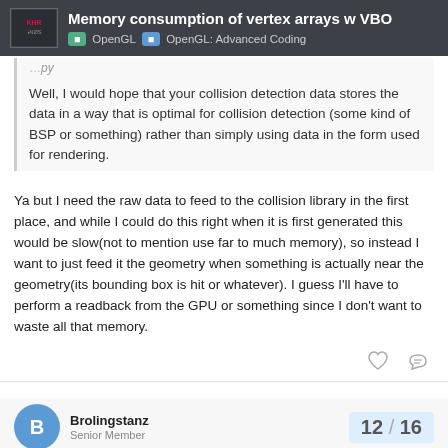Memory consumption of vertex arrays w VBO — OpenGL | OpenGL: Advanced Coding
Well, I would hope that your collision detection data stores the data in a way that is optimal for collision detection (some kind of BSP or something) rather than simply using data in the form used for rendering.
Ya but I need the raw data to feed to the collision library in the first place, and while I could do this right when it is first generated this would be slow(not to mention use far to much memory), so instead I want to just feed it the geometry when something is actually near the geometry(its bounding box is hit or whatever). I guess I'll have to perform a readback from the GPU or something since I don't want to waste all that memory.
Brolingstanz — Senior Member — 12 / 16